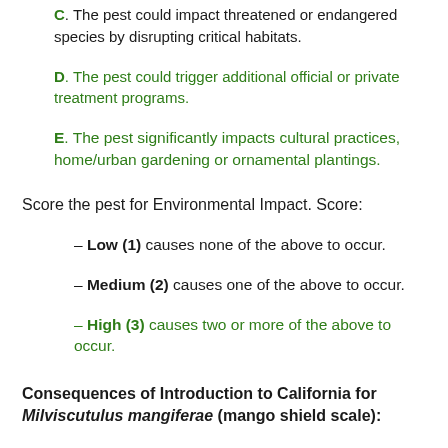C. The pest could impact threatened or endangered species by disrupting critical habitats.
D. The pest could trigger additional official or private treatment programs.
E. The pest significantly impacts cultural practices, home/urban gardening or ornamental plantings.
Score the pest for Environmental Impact. Score:
– Low (1) causes none of the above to occur.
– Medium (2) causes one of the above to occur.
– High (3) causes two or more of the above to occur.
Consequences of Introduction to California for Milviscutulus mangiferae (mango shield scale):